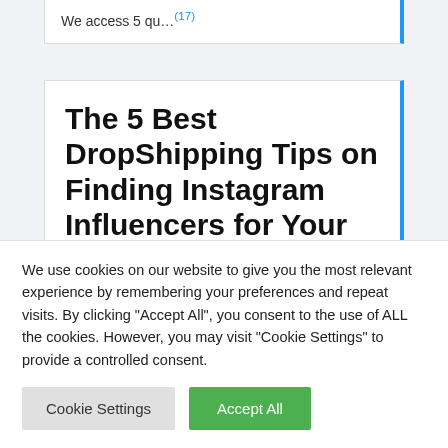We access 5 qu…(17)
The 5 Best DropShipping Tips on Finding Instagram Influencers for Your …
We use cookies on our website to give you the most relevant experience by remembering your preferences and repeat visits. By clicking "Accept All", you consent to the use of ALL the cookies. However, you may visit "Cookie Settings" to provide a controlled consent.